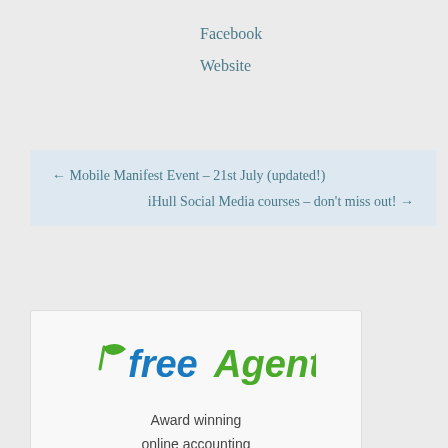Facebook
Website
← Mobile Manifest Event – 21st July (updated!)
iHull Social Media courses – don't miss out! →
[Figure (logo): FreeAgent logo — 'free' in blue with a leaf icon, 'Agent' in green stylized text]
Award winning online accounting designed for small businesses and freelancers
30 Day Free Trial
& Getting Started webinar